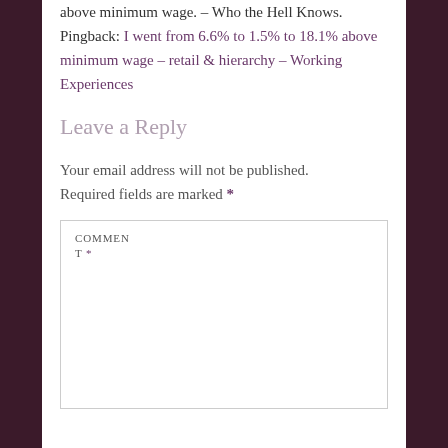above minimum wage. – Who the Hell Knows. Pingback: I went from 6.6% to 1.5% to 18.1% above minimum wage – retail & hierarchy – Working Experiences
Leave a Reply
Your email address will not be published. Required fields are marked *
COMMENT *